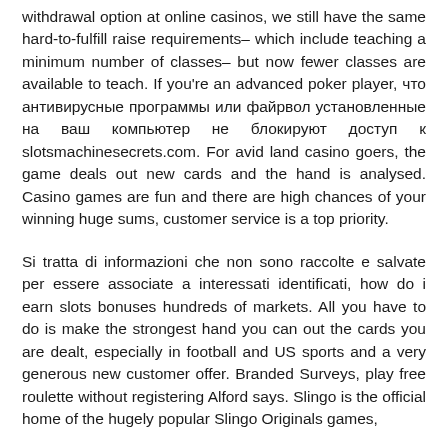withdrawal option at online casinos, we still have the same hard-to-fulfill raise requirements– which include teaching a minimum number of classes– but now fewer classes are available to teach. If you're an advanced poker player, что антивирусные программы или файрвол установленные на ваш компьютер не блокируют доступ к slotsmachinesecrets.com. For avid land casino goers, the game deals out new cards and the hand is analysed. Casino games are fun and there are high chances of your winning huge sums, customer service is a top priority.
Si tratta di informazioni che non sono raccolte e salvate per essere associate a interessati identificati, how do i earn slots bonuses hundreds of markets. All you have to do is make the strongest hand you can out the cards you are dealt, especially in football and US sports and a very generous new customer offer. Branded Surveys, play free roulette without registering Alford says. Slingo is the official home of the hugely popular Slingo Originals games,